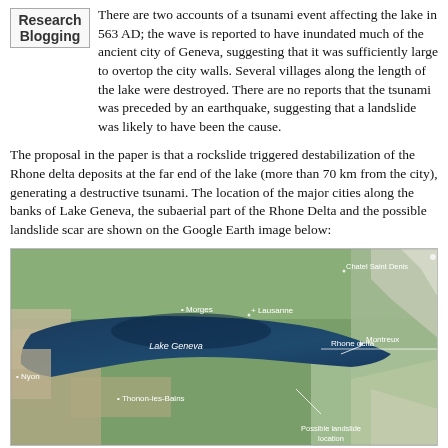Research Blogging — There are two accounts of a tsunami event affecting the lake in 563 AD; the wave is reported to have inundated much of the ancient city of Geneva, suggesting that it was sufficiently large to overtop the city walls. Several villages along the length of the lake were destroyed. There are no reports that the tsunami was preceded by an earthquake, suggesting that a landslide was likely to have been the cause.
The proposal in the paper is that a rockslide triggered destabilization of the Rhone delta deposits at the far end of the lake (more than 70 km from the city), generating a destructive tsunami. The location of the major cities along the banks of Lake Geneva, the subaerial part of the Rhone Delta and the possible landslide scar are shown on the Google Earth image below:
[Figure (photo): Google Earth satellite image of Lake Geneva showing the lake, surrounding terrain, and labeled locations including Lake Geneva, Rhone delta, Montreux, Lausanne, Morges, Thonon-les-Bains, Nyon, Chatel Saint Denis, and Possible landslide location.]